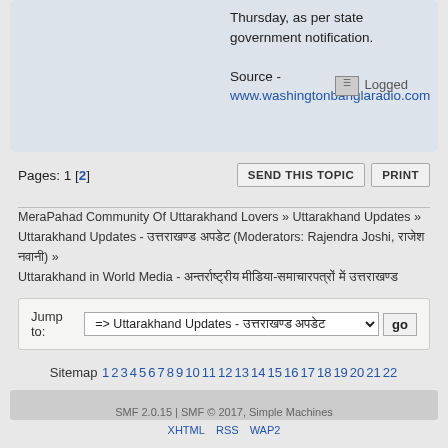Thursday, as per state government notification.

Source - www.washingtonbanglaradio.com

Logged
Pages: 1 [2]
SEND THIS TOPIC
PRINT
MeraPahad Community Of Uttarakhand Lovers » Uttarakhand Updates » Uttarakhand Updates - उत्तराखण्ड अपडेट (Moderators: Rajendra Joshi, राजेश नवानी) » Uttarakhand in World Media - अन्तर्राष्ट्रीय मीडिया-समाचारपत्रों में उत्तराखण्ड
Jump to: => Uttarakhand Updates - उत्तराखण्ड अपडेट  go
Sitemap 1 2 3 4 5 6 7 8 9 10 11 12 13 14 15 16 17 18 19 20 21 22
SMF 2.0.15 | SMF © 2017, Simple Machines
XHTML RSS WAP2